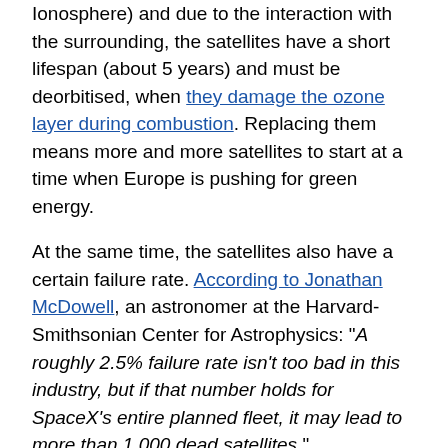Ionosphere) and due to the interaction with the surrounding, the satellites have a short lifespan (about 5 years) and must be deorbitised, when they damage the ozone layer during combustion. Replacing them means more and more satellites to start at a time when Europe is pushing for green energy.
At the same time, the satellites also have a certain failure rate. According to Jonathan McDowell, an astronomer at the Harvard-Smithsonian Center for Astrophysics: "A roughly 2.5% failure rate isn't too bad in this industry, but if that number holds for SpaceX's entire planned fleet, it may lead to more than 1,000 dead satellites."
This in turn can lead to a significant increase in the number of collisions, which will cause the formation of new space debris (collisional cascading called Kessler effect).
The head of the Russian Central Research Institute for Machine Building (a part of the Russian State Space